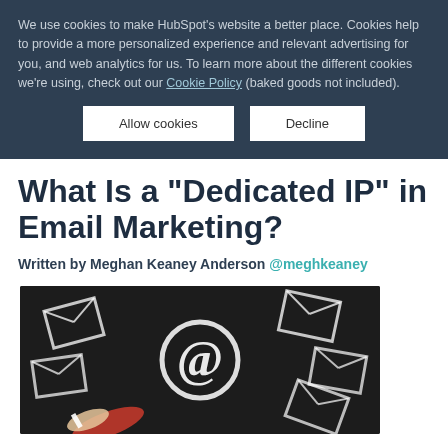We use cookies to make HubSpot's website a better place. Cookies help to provide a more personalized experience and relevant advertising for you, and web analytics for us. To learn more about the different cookies we're using, check out our Cookie Policy (baked goods not included).
Allow cookies | Decline
What Is a "Dedicated IP" in Email Marketing?
Written by Meghan Keaney Anderson @meghkeaney
[Figure (photo): A chalkboard with a large @ symbol drawn in chalk, surrounded by chalk-drawn envelope icons. A person's hand (wearing a red sleeve) is visible drawing on the board.]